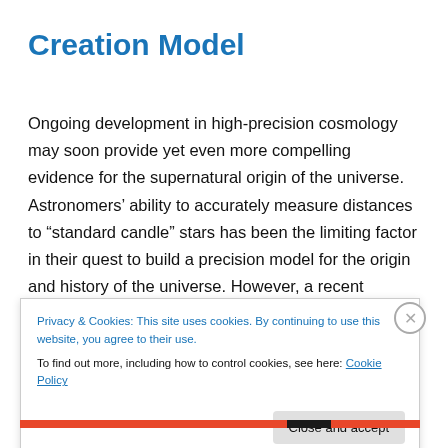Creation Model
Ongoing development in high-precision cosmology may soon provide yet even more compelling evidence for the supernatural origin of the universe. Astronomers’ ability to accurately measure distances to “standard candle” stars has been the limiting factor in their quest to build a precision model for the origin and history of the universe. However, a recent measurement has lowered this limit by
Privacy & Cookies: This site uses cookies. By continuing to use this website, you agree to their use.
To find out more, including how to control cookies, see here: Cookie Policy
Close and accept